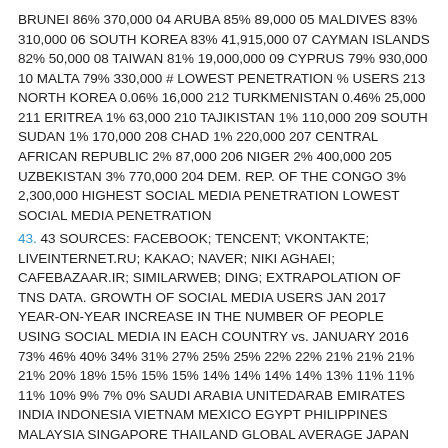BRUNEI 86% 370,000 04 ARUBA 85% 89,000 05 MALDIVES 83% 310,000 06 SOUTH KOREA 83% 41,915,000 07 CAYMAN ISLANDS 82% 50,000 08 TAIWAN 81% 19,000,000 09 CYPRUS 79% 930,000 10 MALTA 79% 330,000 # LOWEST PENETRATION % USERS 213 NORTH KOREA 0.06% 16,000 212 TURKMENISTAN 0.46% 25,000 211 ERITREA 1% 63,000 210 TAJIKISTAN 1% 110,000 209 SOUTH SUDAN 1% 170,000 208 CHAD 1% 220,000 207 CENTRAL AFRICAN REPUBLIC 2% 87,000 206 NIGER 2% 400,000 205 UZBEKISTAN 3% 770,000 204 DEM. REP. OF THE CONGO 3% 2,300,000 HIGHEST SOCIAL MEDIA PENETRATION LOWEST SOCIAL MEDIA PENETRATION
43. 43 SOURCES: FACEBOOK; TENCENT; VKONTAKTE; LIVEINTERNET.RU; KAKAO; NAVER; NIKI AGHAEI; CAFEBAZAAR.IR; SIMILARWEB; DING; EXTRAPOLATION OF TNS DATA. GROWTH OF SOCIAL MEDIA USERS JAN 2017 YEAR-ON-YEAR INCREASE IN THE NUMBER OF PEOPLE USING SOCIAL MEDIA IN EACH COUNTRY vs. JANUARY 2016 73% 46% 40% 34% 31% 27% 25% 25% 22% 22% 21% 21% 21% 21% 20% 18% 15% 15% 15% 14% 14% 14% 14% 13% 11% 11% 11% 10% 9% 7% 0% SAUDI ARABIA UNITEDARAB EMIRATES INDIA INDONESIA VIETNAM MEXICO EGYPT PHILIPPINES MALAYSIA SINGAPORE THAILAND GLOBAL AVERAGE JAPAN CHINA